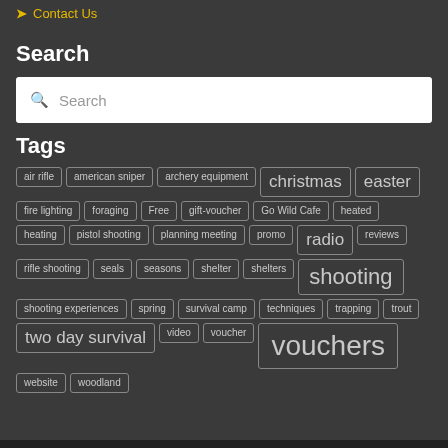Contact Us
Search
Search
Tags
air rifle
american sniper
archery equipment
christmas
easter
fire lighting
foraging
Free
gift-voucher
Go Wild Cafe
heated
heating
pistol shooting
planning meeting
promo
radio
reviews
rifle shooting
seals
seasons
shelter
shelters
shooting
shooting experiences
spring
survival camp
techniques
trapping
trout
two day survival
video
voucher
vouchers
website
woodland